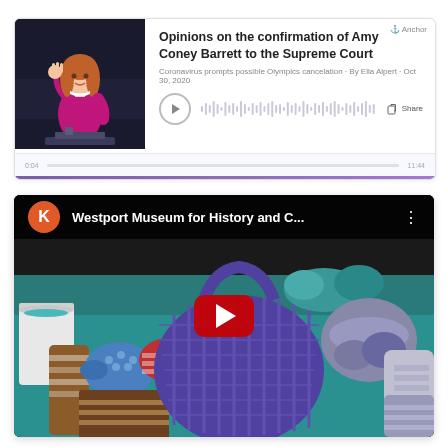[Figure (screenshot): Anchor podcast player card for episode 'Opinions on the confirmation of Amy Coney Barrett to the Supreme Court'. Shows a thumbnail of a woman illustration on left, episode title, subtitle 'Coronavirus prompts possible Olympics cancelation · By Ella Alpert · Oct 30, 2020', play button, share button, and waveform/progress bar.]
[Figure (screenshot): YouTube video thumbnail for 'Westport Museum for History and C...' showing knitted/crocheted items on a teal table. Channel avatar is orange circle with letter K. Large red YouTube play button centered on video.]